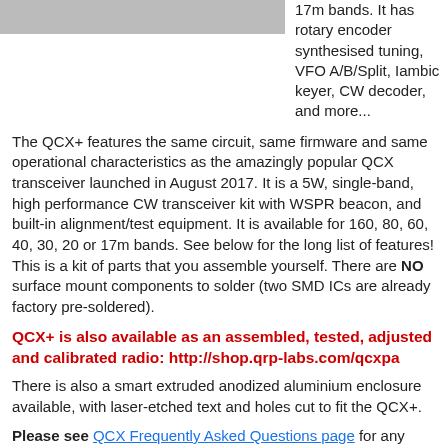[Figure (photo): Partial photo of QCX+ radio hardware, top portion visible]
17m bands. It has rotary encoder synthesised tuning, VFO A/B/Split, Iambic keyer, CW decoder, and more...
The QCX+ features the same circuit, same firmware and same operational characteristics as the amazingly popular QCX transceiver launched in August 2017. It is a 5W, single-band, high performance CW transceiver kit with WSPR beacon, and built-in alignment/test equipment. It is available for 160, 80, 60, 40, 30, 20 or 17m bands. See below for the long list of features! This is a kit of parts that you assemble yourself. There are NO surface mount components to solder (two SMD ICs are already factory pre-soldered).
QCX+ is also available as an assembled, tested, adjusted and calibrated radio: http://shop.qrp-labs.com/qcxpa
There is also a smart extruded anodized aluminium enclosure available, with laser-etched text and holes cut to fit the QCX+.
Please see QCX Frequently Asked Questions page for any